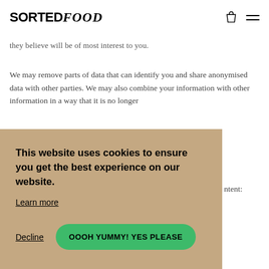SORTED FOOD
they believe will be of most interest to you.
We may remove parts of data that can identify you and share anonymised data with other parties. We may also combine your information with other information in a way that it is no longer
This website uses cookies to ensure you get the best experience on our website.
Learn more
Decline
OOOH YUMMY! YES PLEASE
ntent:
tarily disclose for posting to the Service, such as User Content, becomes